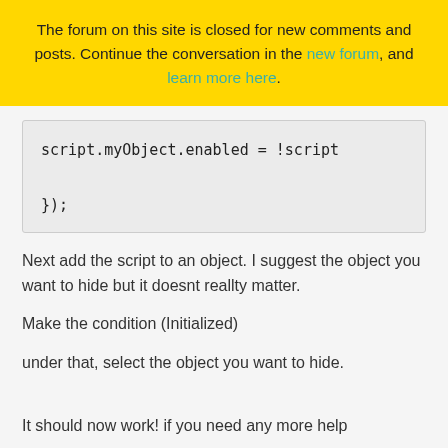The forum on this site is closed for new comments and posts. Continue the conversation in the new forum, and learn more here.
script.myObject.enabled = !script

});
Next add the script to an object. I suggest the object you want to hide but it doesnt reallty matter.
Make the condition (Initialized)
under that, select the object you want to hide.
It should now work! if you need any more help